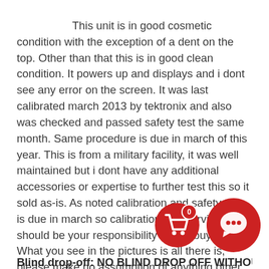This unit is in good cosmetic condition with the exception of a dent on the top. Other than that this is in good clean condition. It powers up and displays and i dont see any error on the screen. It was last calibrated march 2013 by tektronix and also was checked and passed safety test the same month. Same procedure is due in march of this year. This is from a military facility, it was well maintained but i dont have any additional accessories or expertise to further test this so it sold as-is. As noted calibration and safety test is due in march so calibration and service should be your responsibility as the buyer. What you see in the pictures is all there is, please make no assumption of anything other. Shipping will be based on your zip code or location.
[Figure (illustration): Two red circular buttons overlaid on text: a shopping cart button with badge showing '0', and a chat/message button]
Blind drop-off: NO BLIND DROP OFF WITHOUT